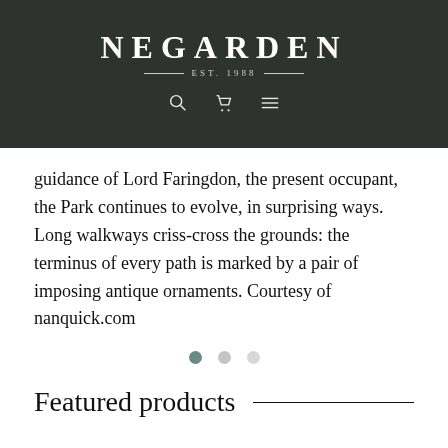NEGARDEN — EST. 1988
guidance of Lord Faringdon, the present occupant, the Park continues to evolve, in surprising ways. Long walkways criss-cross the grounds: the terminus of every path is marked by a pair of imposing antique ornaments. Courtesy of nanquick.com
Featured products